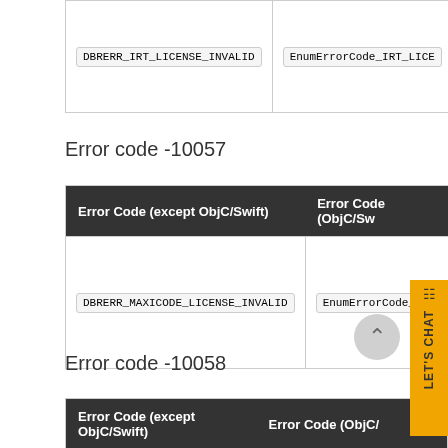| Error Code (except ObjC/Swift) | Error Code (ObjC/Swift) |
| --- | --- |
| DBRERR_IRT_LICENSE_INVALID | EnumErrorCode_IRT_LICENSE_INVALID |
Error code -10057
| Error Code (except ObjC/Swift) | Error Code (ObjC/Swift) |
| --- | --- |
| DBRERR_MAXICODE_LICENSE_INVALID | EnumErrorCode_MAXICODE_LICENSE_INVALID |
Error code -10058
| Error Code (except ObjC/Swift) | Error Code (ObjC/Swift) |
| --- | --- |